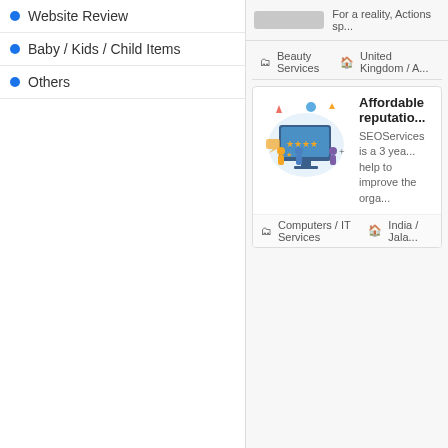Website Review
Baby / Kids / Child Items
Others
For a reality, Actions sp...
Beauty Services  United Kingdom / A...
Affordable reputatio...
SEOServices is a 3 yea... help to improve the orga...
Computers / IT Services  India / Jala...